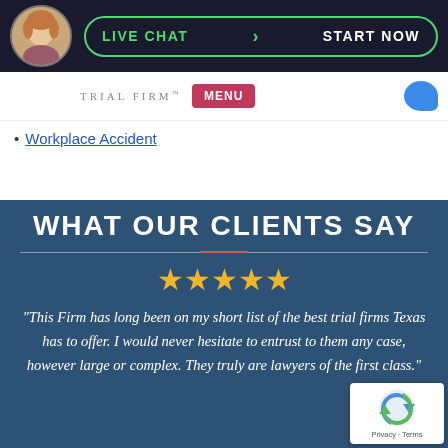LIVE CHAT › START NOW
[Figure (logo): Trial Firm logo with woman avatar, MENU button, and chat bubble]
Workplace Accident
WHAT OUR CLIENTS SAY
★★★★★
"This Firm has long been on my short list of the best trial firms Texas has to offer. I would never hesitate to entrust to them any case, however large or complex. They truly are lawyers of the first class."